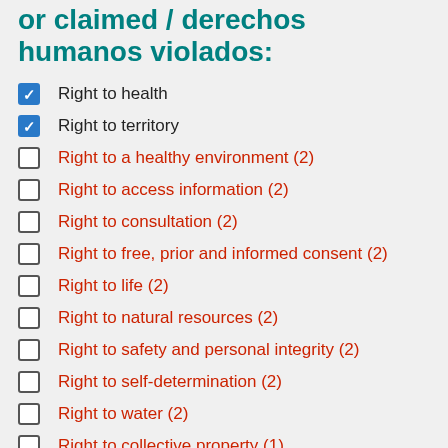or claimed / derechos humanos violados:
Right to health [checked]
Right to territory [checked]
Right to a healthy environment (2) [unchecked]
Right to access information (2) [unchecked]
Right to consultation (2) [unchecked]
Right to free, prior and informed consent (2) [unchecked]
Right to life (2) [unchecked]
Right to natural resources (2) [unchecked]
Right to safety and personal integrity (2) [unchecked]
Right to self-determination (2) [unchecked]
Right to water (2) [unchecked]
Right to collective property (1) [unchecked]
Right to due process (1) [unchecked]
Right to private property (1) [unchecked]